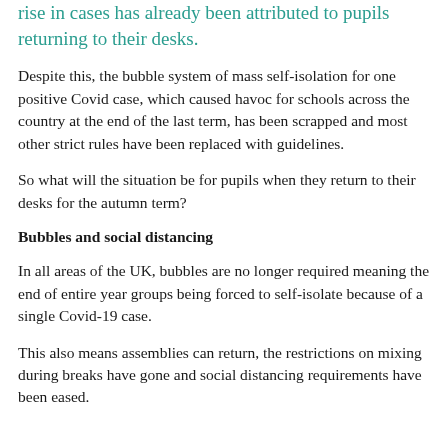rise in cases has already been attributed to pupils returning to their desks.
Despite this, the bubble system of mass self-isolation for one positive Covid case, which caused havoc for schools across the country at the end of the last term, has been scrapped and most other strict rules have been replaced with guidelines.
So what will the situation be for pupils when they return to their desks for the autumn term?
Bubbles and social distancing
In all areas of the UK, bubbles are no longer required meaning the end of entire year groups being forced to self-isolate because of a single Covid-19 case.
This also means assemblies can return, the restrictions on mixing during breaks have gone and social distancing requirements have been eased.